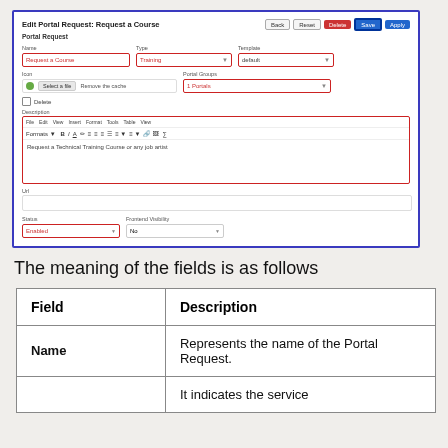[Figure (screenshot): Edit Portal Request: Request a Course form UI screenshot showing fields for Name (Request a Course), Type (Training), Template (default), Icon (file upload), Portal Groups (1 Portals), Delete checkbox, Description editor with text 'Request a Technical Training Course or any job artist', URL field, Status (Enabled), and Portal Visibility (No). Buttons: Back, Reset, Delete, Save, Apply.]
The meaning of the fields is as follows
| Field | Description |
| --- | --- |
| Name | Represents the name of the Portal Request. |
|  | It indicates the service |